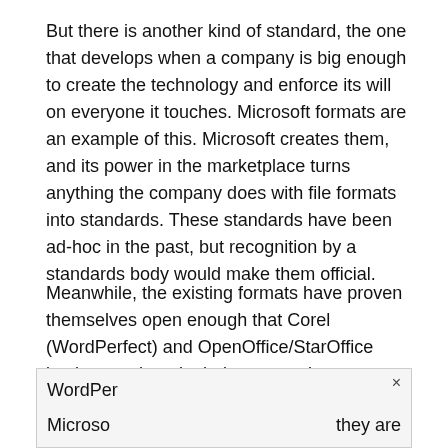But there is another kind of standard, the one that develops when a company is big enough to create the technology and enforce its will on everyone it touches. Microsoft formats are an example of this. Microsoft creates them, and its power in the marketplace turns anything the company does with file formats into standards. These standards have been ad-hoc in the past, but recognition by a standards body would make them official.
Meanwhile, the existing formats have proven themselves open enough that Corel (WordPerfect) and OpenOffice/StarOffice implement them in their own products, allowing their suites to read and write Microsoft-formatted files.
WordPer[...] × Microso[...] they are